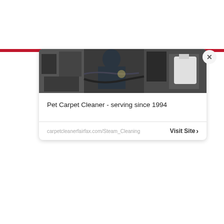[Figure (photo): Popup card showing a mechanic or worker in a garage/vehicle service setting with equipment visible]
Pet Carpet Cleaner - serving since 1994
carpetcleanerfairfax.com/Steam_Cleaning   Visit Site >